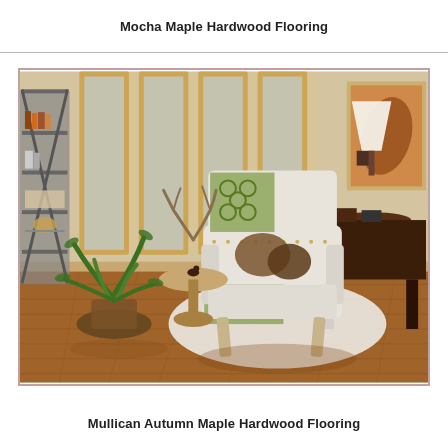Mocha Maple Hardwood Flooring
[Figure (photo): Interior living room scene featuring warm maple hardwood flooring with an upholstered wingback accent chair with green patterned throw, dark wood side table with lamp, metal bookshelf with books and decorative items, potted plant, and large windows with warm wood frames letting in natural light.]
Mullican Autumn Maple Hardwood Flooring